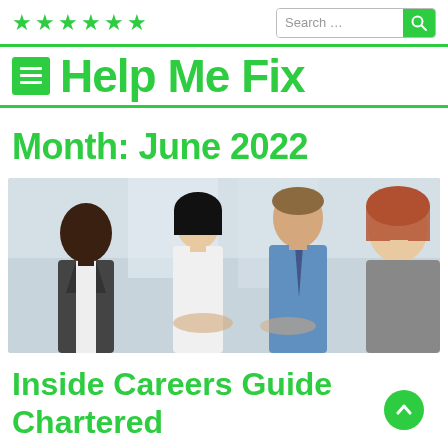★★★★★★  Search ...  [search button]
Help Me Fix
Month: June 2022
[Figure (photo): Four business professionals in an office setting — a Black man in a suit, a woman with black hair, a man in a blue shirt and tie, and a woman with short auburn hair — appearing to be in conversation or meeting.]
Inside Careers Guide Chartered